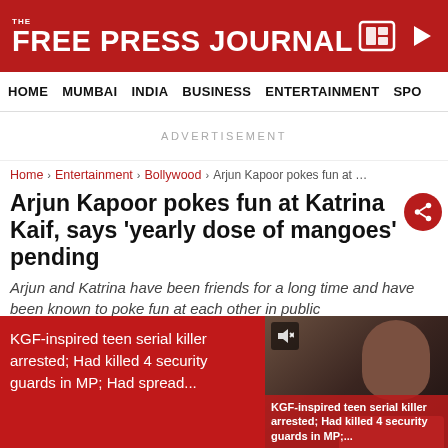THE FREE PRESS JOURNAL
HOME   MUMBAI   INDIA   BUSINESS   ENTERTAINMENT   SPO
ADVERTISEMENT
Home > Entertainment > Bollywood > Arjun Kapoor pokes fun at Katr...
Arjun Kapoor pokes fun at Katrina Kaif, says 'yearly dose of mangoes' pending
Arjun and Katrina have been friends for a long time and have been known to poke fun at each other in public
ANI | Updated: Friday, June 10, 2022, 07:19 PM IST
KGF-inspired teen serial killer arrested; Had killed 4 security guards in MP; Had spread...
[Figure (photo): Photo of a person, with overlay text: KGF-inspired teen serial killer arrested; Had killed 4 security guards in MP;]